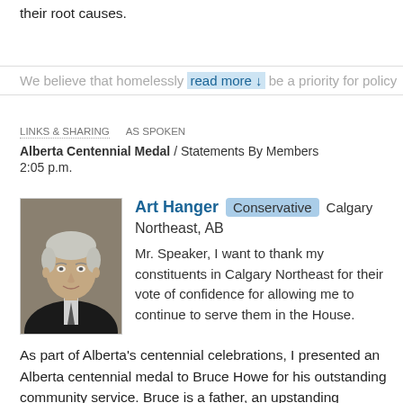their root causes.
We believe that homel… read more ↓ …be a priority for policy
LINKS & SHARING   AS SPOKEN
Alberta Centennial Medal / Statements By Members
2:05 p.m.
[Figure (photo): Portrait photo of Art Hanger, an older white-haired man in a dark suit]
Art Hanger  Conservative  Calgary Northeast, AB

Mr. Speaker, I want to thank my constituents in Calgary Northeast for their vote of confidence for allowing me to continue to serve them in the House.
As part of Alberta's centennial celebrations, I presented an Alberta centennial medal to Bruce Howe for his outstanding community service. Bruce is a father, an upstanding member of the community and someone whose life was shattered when his daughter Kelly was killed by her partner in 1995, a victim of domestic violence.